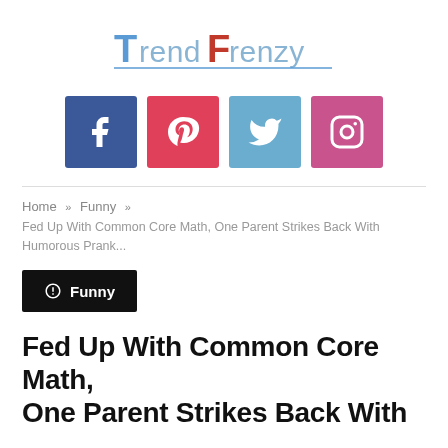[Figure (logo): TrendFrenzy website logo in blue and pink stylized text with underline]
[Figure (infographic): Four social media icon buttons: Facebook (blue), Pinterest (red/pink), Twitter (light blue), Instagram (pink/magenta)]
Home » Funny » Fed Up With Common Core Math, One Parent Strikes Back With Humorous Prank...
🌐 Funny
Fed Up With Common Core Math, One Parent Strikes Back With